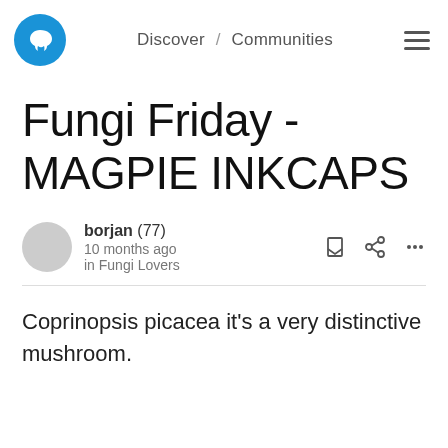Discover / Communities
Fungi Friday - MAGPIE INKCAPS
borjan (77) 10 months ago in Fungi Lovers
Coprinopsis picacea it's a very distinctive mushroom.